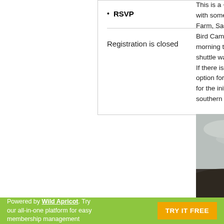RSVP
Registration is closed
This is a ~18 with some ov Farm, Sandp Bird Campsit morning to C shuttle walke If there is suf option for day for the initial southern coa
[Figure (photo): Wind turbine against overcast sky on a hilltop]
Powered by Wild Apricot. Try our all-in-one platform for easy membership management  TRY IT FREE